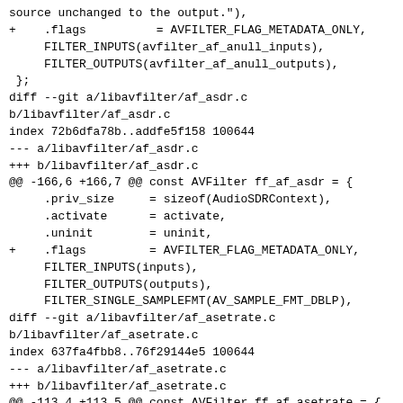source unchanged to the output."),
+    .flags          = AVFILTER_FLAG_METADATA_ONLY,
     FILTER_INPUTS(avfilter_af_anull_inputs),
     FILTER_OUTPUTS(avfilter_af_anull_outputs),
 };
diff --git a/libavfilter/af_asdr.c
b/libavfilter/af_asdr.c
index 72b6dfa78b..addfe5f158 100644
--- a/libavfilter/af_asdr.c
+++ b/libavfilter/af_asdr.c
@@ -166,6 +166,7 @@ const AVFilter ff_af_asdr = {
     .priv_size     = sizeof(AudioSDRContext),
     .activate      = activate,
     .uninit        = uninit,
+    .flags         = AVFILTER_FLAG_METADATA_ONLY,
     FILTER_INPUTS(inputs),
     FILTER_OUTPUTS(outputs),
     FILTER_SINGLE_SAMPLEFMT(AV_SAMPLE_FMT_DBLP),
diff --git a/libavfilter/af_asetrate.c
b/libavfilter/af_asetrate.c
index 637fa4fbb8..76f29144e5 100644
--- a/libavfilter/af_asetrate.c
+++ b/libavfilter/af_asetrate.c
@@ -113,4 +113,5 @@ const AVFilter ff_af_asetrate = {
     FILTER_OUTPUTS(asetrate_outputs),
     FILTER_QUERY_FUNC(query_formats),
     .priv_class    = &asetrate_class,
+    .flags         = AVFILTER_FLAG_METADATA_ONLY,
 };
diff --git a/libavfilter/af_ashowinfo.c